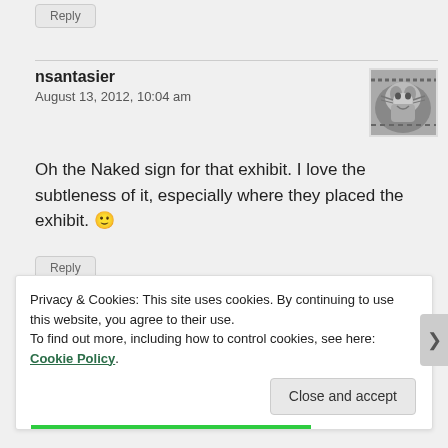Reply
nsantasier
August 13, 2012, 10:04 am
[Figure (photo): Black and white avatar photo showing a tiger with open mouth]
Oh the Naked sign for that exhibit. I love the subtleness of it, especially where they placed the exhibit. 🙂
Reply
Privacy & Cookies: This site uses cookies. By continuing to use this website, you agree to their use.
To find out more, including how to control cookies, see here: Cookie Policy
Close and accept